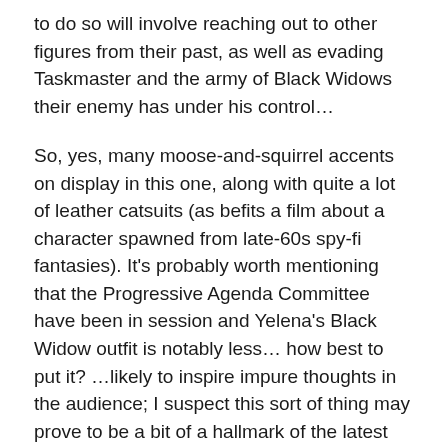to do so will involve reaching out to other figures from their past, as well as evading Taskmaster and the army of Black Widows their enemy has under his control…
So, yes, many moose-and-squirrel accents on display in this one, along with quite a lot of leather catsuits (as befits a film about a character spawned from late-60s spy-fi fantasies). It's probably worth mentioning that the Progressive Agenda Committee have been in session and Yelena's Black Widow outfit is notably less… how best to put it? …likely to inspire impure thoughts in the audience; I suspect this sort of thing may prove to be a bit of a hallmark of the latest phase of the Marvel project.
Nevertheless, it's good to have something as solidly, reliably entertaining as a Marvel film back in the cinema. I suspect that not even the most fanatical fan of either